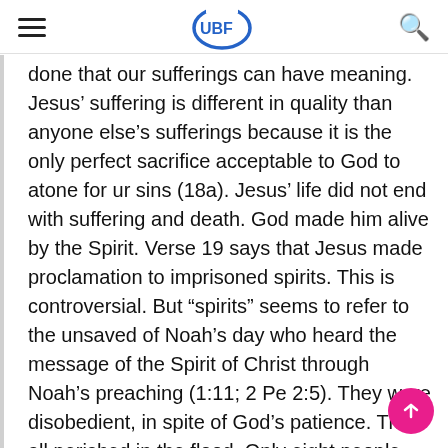UBF
done that our sufferings can have meaning. Jesus’ suffering is different in quality than anyone else’s sufferings because it is the only perfect sacrifice acceptable to God to atone for ur sins (18a). Jesus’ life did not end with suffering and death. God made him alive by the Spirit. Verse 19 says that Jesus made proclamation to imprisoned spirits. This is controversial. But “spirits” seems to refer to the unsaved of Noah’s day who heard the message of the Spirit of Christ through Noah’s preaching (1:11; 2 Pe 2:5). They were disobedient, in spite of God’s patience. They all perished in the flood. Only eight people, those in the ark, were saved through water (20). This water symbolized baptism which is the